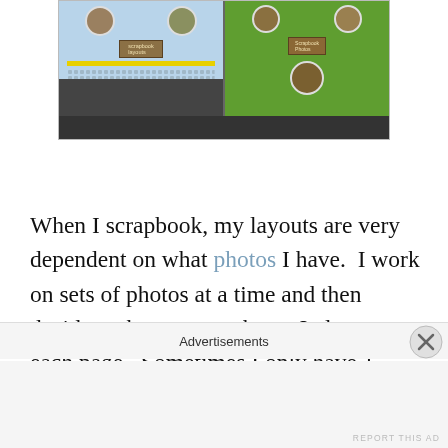[Figure (photo): Two scrapbook pages side by side: left page has blue background with circular photo embellishments, a label/tag element, yellow strip, and dotted border strip at bottom; right page has green background with circular photo embellishments and a label element. Both pages are partially visible above a dark surface.]
When I scrapbook, my layouts are very dependent on what photos I have.  I work on sets of photos at a time and then decide on how many photos I place on each page.  Sometimes I only have 1 photo on a page and other times I might be able to fit about 4 or 5 photos.  I don't always have the same layout on each page of a
Advertisements
REPORT THIS AD